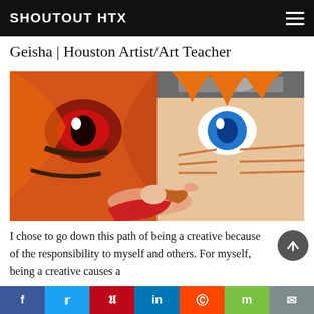SHOUTOUT HTX
Geisha | Houston Artist/Art Teacher
[Figure (photo): A woman poses lying down in front of a large painting depicting two anime-style faces — one of a fox/demon character with a red eye on the left, and a character with a blue eye on the right (resembling Naruto). The artwork is vibrant with orange, black, and white paint.]
I chose to go down this path of being a creative because of the responsibility to myself and others. For myself, being a creative causes a